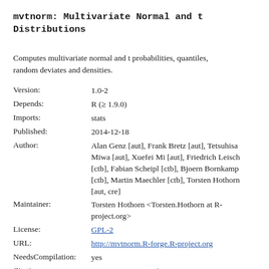mvtnorm: Multivariate Normal and t Distributions
Computes multivariate normal and t probabilities, quantiles, random deviates and densities.
| Field | Value |
| --- | --- |
| Version: | 1.0-2 |
| Depends: | R (≥ 1.9.0) |
| Imports: | stats |
| Published: | 2014-12-18 |
| Author: | Alan Genz [aut], Frank Bretz [aut], Tetsuhisa Miwa [aut], Xuefei Mi [aut], Friedrich Leisch [ctb], Fabian Scheipl [ctb], Bjoern Bornkamp [ctb], Martin Maechler [ctb], Torsten Hothorn [aut, cre] |
| Maintainer: | Torsten Hothorn <Torsten.Hothorn at R-project.org> |
| License: | GPL-2 |
| URL: | http://mvtnorm.R-forge.R-project.org |
| NeedsCompilation: | yes |
| Citation: | mvtnorm citation info |
| Materials: | NEWS |